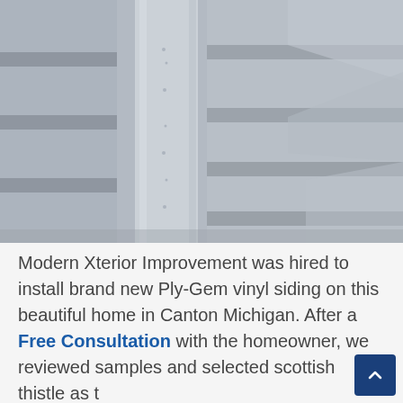[Figure (photo): Close-up photo of white/light grey vinyl siding panels with overlapping horizontal layers and small nail/fastener holes visible on the vertical trim piece in the center.]
Modern Xterior Improvement was hired to install brand new Ply-Gem vinyl siding on this beautiful home in Canton Michigan. After a Free Consultation with the homeowner, we reviewed samples and selected scottish thistle as the color that would most compliment the home's exterior. We